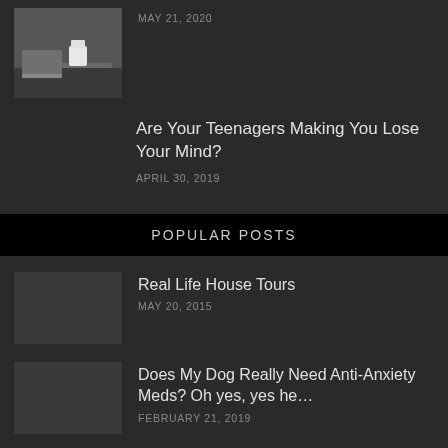[Figure (photo): Thumbnail photo showing a desk with coffee cup and laptop, partially cropped]
MAY 21, 2020
Are Your Teenagers Making You Lose Your Mind?
APRIL 30, 2019
POPULAR POSTS
[Figure (photo): Thumbnail placeholder for Real Life House Tours post]
Real Life House Tours
MAY 20, 2015
[Figure (photo): Thumbnail placeholder for Does My Dog Really Need Anti-Anxiety Meds post]
Does My Dog Really Need Anti-Anxiety Meds? Oh yes, yes he…
FEBRUARY 21, 2019
Man Flu – She's Sick; He's Sick(er)